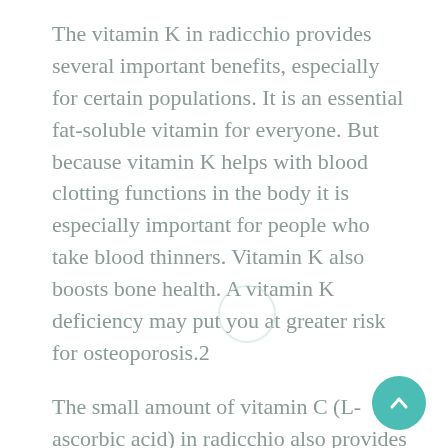The vitamin K in radicchio provides several important benefits, especially for certain populations. It is an essential fat-soluble vitamin for everyone. But because vitamin K helps with blood clotting functions in the body it is especially important for people who take blood thinners. Vitamin K also boosts bone health. A vitamin K deficiency may put you at greater risk for osteoporosis.2
The small amount of vitamin C (L-ascorbic acid) in radicchio also provides certain health benefits. The vitamin acts as an anti-oxidant to protect cells in your body from free-radical damage. Vitamin C also boosts collagen production, improves immune function, and helps your body to absorb iron—an important